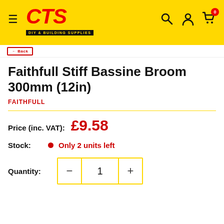[Figure (logo): CTS DIY & Building Supplies logo on yellow background with hamburger menu, search, user, and cart icons]
Faithfull Stiff Bassine Broom 300mm (12in)
FAITHFULL
Price (inc. VAT): £9.58
Stock: Only 2 units left
Quantity: 1